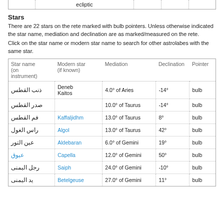|  |  | ecliptic |  |  |
| --- | --- | --- | --- | --- |
Stars
There are 22 stars on the rete marked with bulb pointers. Unless otherwise indicated the star name, mediation and declination are as marked/measured on the rete.
Click on the star name or modern star name to search for other astrolabes with the same star.
| Star name (on instrument) | Modern star (if known) | Mediation | Declination | Pointer |
| --- | --- | --- | --- | --- |
| ذنب القطس | Deneb Kaitos | 4.0° of Aries | -14° | bulb |
| صدر القطس |  | 10.0° of Taurus | -14° | bulb |
| فم القطس | Kaffaljidhm | 13.0° of Taurus | 8° | bulb |
| راس الغول | Algol | 13.0° of Taurus | 42° | bulb |
| عين التور | Aldebaran | 6.0° of Gemini | 19° | bulb |
| عيوق | Capella | 12.0° of Gemini | 50° | bulb |
| رجل اليمنى | Saiph | 24.0° of Gemini | -10° | bulb |
| يد اليمنى | Betelgeuse | 27.0° of Gemini | 11° | bulb |